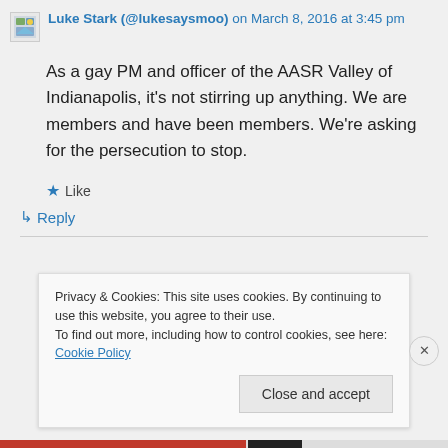Luke Stark (@lukesaysmoo) on March 8, 2016 at 3:45 pm
As a gay PM and officer of the AASR Valley of Indianapolis, it's not stirring up anything. We are members and have been members. We're asking for the persecution to stop.
★ Like
↳ Reply
Privacy & Cookies: This site uses cookies. By continuing to use this website, you agree to their use.
To find out more, including how to control cookies, see here: Cookie Policy
Close and accept